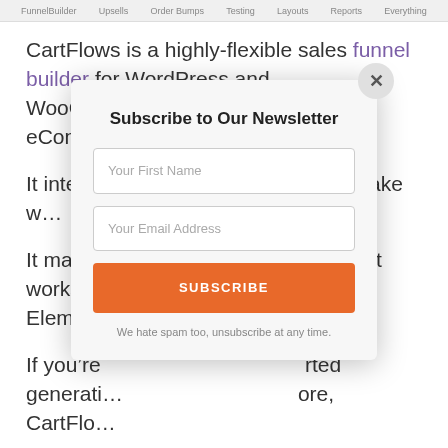FunnelBuilder  Upsells  Order Bumps  Testing  Layouts  Reports  Everything
CartFlows is a highly-flexible sales funnel builder for WordPress and WooCommerce. It is built to be a full eCommerce solution.
It integr… s to make w…
It makes… es as it works w… ng Element…
If you're… rted generati… ore, CartFlo…
[Figure (screenshot): Newsletter subscription modal popup with title 'Subscribe to Our Newsletter', two input fields (Your First Name, Your Email Address), an orange SUBSCRIBE button, and a close (X) button. Below button: 'We hate spam too, unsubscribe at any time.']